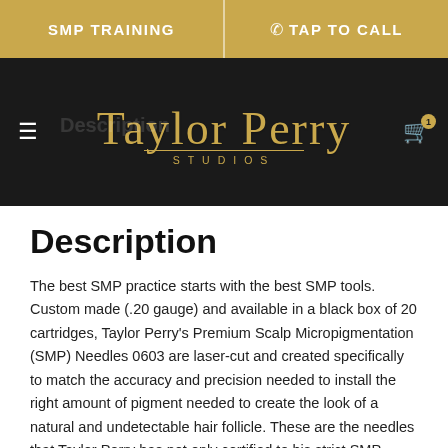SMP TRAINING | TAP TO CALL
[Figure (logo): Taylor Perry Studios script logo in gold on black background]
Description
The best SMP practice starts with the best SMP tools. Custom made (.20 gauge) and available in a black box of 20 cartridges, Taylor Perry's Premium Scalp Micropigmentation (SMP) Needles 0603 are laser-cut and created specifically to match the accuracy and precision needed to install the right amount of pigment needed to create the look of a natural and undetectable hair follicle. These are the needles that Taylor Perry has not only certified to his strict SMP requirements but they are also the needles he uses in his very own practice. The Taylor Perry Signature SMP Needles are perfect for Scalp Micropigmentation & Permanent Make-up (PMU) for